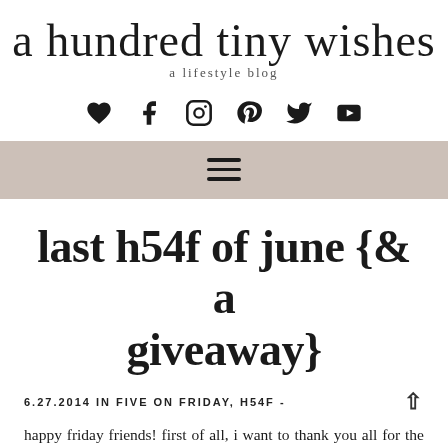a hundred tiny wishes
a lifestyle blog
[Figure (infographic): Social media icons row: heart (Bloglovin), f (Facebook), camera (Instagram), P (Pinterest), bird (Twitter), play button (YouTube)]
[Figure (infographic): Navigation bar with hamburger menu icon (three horizontal lines) on a tan/beige background]
last h54f of june {& a giveaway}
6.27.2014 IN FIVE ON FRIDAY, H54F -
happy friday friends! first of all, i want to thank you all for the amazing amount of support i received after